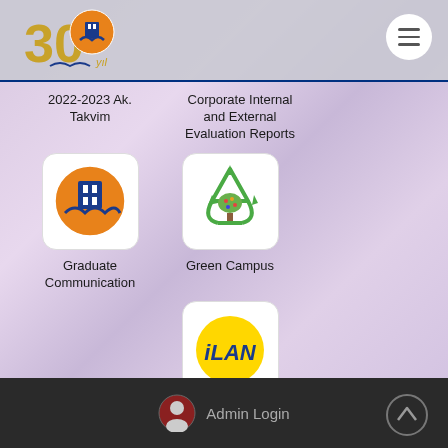[Figure (logo): 30th anniversary logo with university emblem and '30 yıl' text in gold]
2022-2023 Ak. Takvim
Corporate Internal and External Evaluation Reports
[Figure (logo): University logo with orange and blue emblem - Graduate Communication]
Graduate Communication
[Figure (logo): Green Campus recycling tree logo]
Green Campus
[Figure (logo): iLAN ad portal logo - yellow circle with bold iLAN text]
Ad Portal
Admin Login